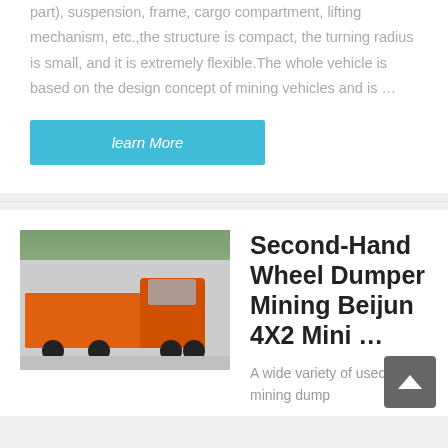part), suspension, frame, cargo compartment, lifting mechanism, etc.,the structure is compact, the turning radius is small, and it is extremely flexible.The whole vehicle is based on the design concept of mining vehicles and is …
learn More
[Figure (photo): Orange dump truck / mining vehicle parked outdoors]
Second-Hand Wheel Dumper Mining Beijun 4X2 Mini …
A wide variety of used mining dump